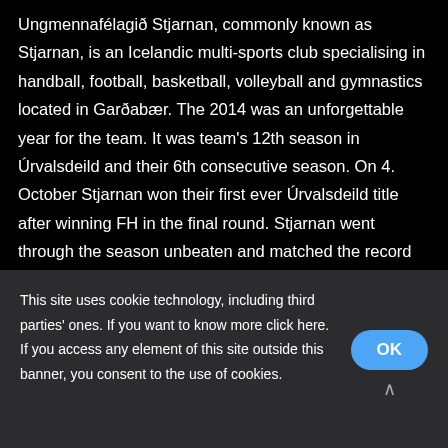Ungmennafélagið Stjarnan, commonly known as Stjarnan, is an Icelandic multi-sports club specialising in handball, football, basketball, volleyball and gymnastics located in Garðabær. The 2014 was an unforgettable year for the team. It was team's 12th season in Úrvalsdeild and their 6th consecutive season. On 4. October Stjarnan won their first ever Úrvalsdeild title after winning FH in the final round. Stjarnan went through the season unbeaten and matched the record for points set by KR in 2013. Stjarnan took part in their first ever Europa League Qualification in 2014. They entered the qualification in the first round where they were
This site uses cookie technology, including third parties' ones. If you want to know more click here. If you access any element of this site outside this banner, you consent to the use of cookies.